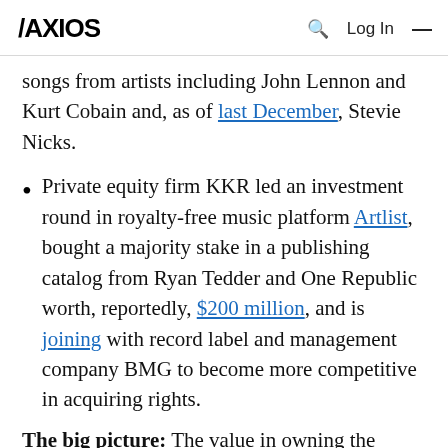AXIOS  🔍  Log In  ≡
songs from artists including John Lennon and Kurt Cobain and, as of last December, Stevie Nicks.
Private equity firm KKR led an investment round in royalty-free music platform Artlist, bought a majority stake in a publishing catalog from Ryan Tedder and One Republic worth, reportedly, $200 million, and is joining with record label and management company BMG to become more competitive in acquiring rights.
The big picture: The value in owning the publishing rights to the songs is expected to